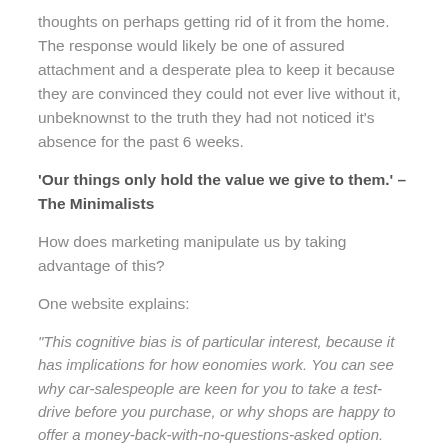thoughts on perhaps getting rid of it from the home. The response would likely be one of assured attachment and a desperate plea to keep it because they are convinced they could not ever live without it, unbeknownst to the truth they had not noticed it's absence for the past 6 weeks.
'Our things only hold the value we give to them.' – The Minimalists
How does marketing manipulate us by taking advantage of this?
One website explains:
“This cognitive bias is of particular interest, because it has implications for how eonomies work. You can see why car-salespeople are keen for you to take a test-drive before you purchase, or why shops are happy to offer a money-back-with-no-questions-asked option. You figure the money-back option into your cost-benefit calculation about whether to take something home, but once you’ve got it home your preferences realign – that item is now “yours”, so you’re far less likely to take it back to the shop, even if it doesn’t turn